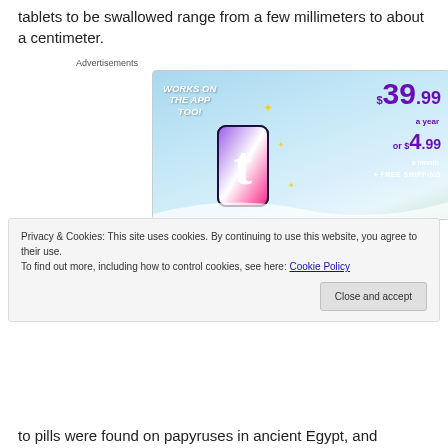tablets to be swallowed range from a few millimeters to about a centimeter.
Advertisements
[Figure (infographic): Tumblr subscription advertisement showing pricing: $39.99 a year or $4.99 a month + FREE SHIPPING, WORKS ON THE APP TOO!, with Tumblr logo]
Privacy & Cookies: This site uses cookies. By continuing to use this website, you agree to their use.
To find out more, including how to control cookies, see here: Cookie Policy
to pills were found on papyruses in ancient Egypt, and